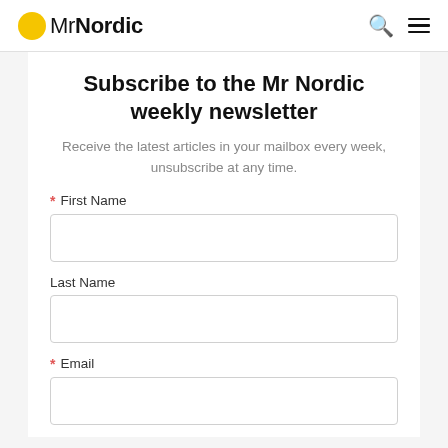MrNordic
Subscribe to the Mr Nordic weekly newsletter
Receive the latest articles in your mailbox every week, unsubscribe at any time.
* First Name
Last Name
* Email